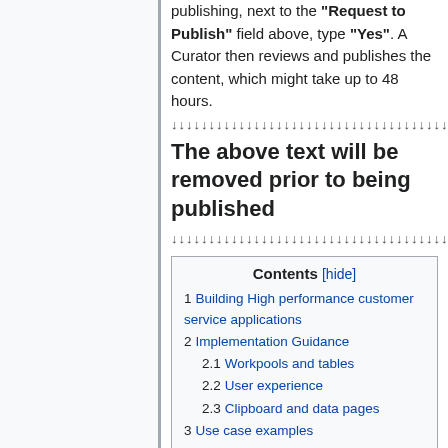publishing, next to the "Request to Publish" field above, type "Yes". A Curator then reviews and publishes the content, which might take up to 48 hours.
↓↓↓↓↓↓↓↓↓↓↓↓↓↓↓↓↓↓↓↓↓↓↓↓↓↓↓↓↓↓↓↓↓↓↓↓↓↓↓↓↓↓↓↓↓↓↓
The above text will be removed prior to being published
↓↓↓↓↓↓↓↓↓↓↓↓↓↓↓↓↓↓↓↓↓↓↓↓↓↓↓↓↓↓↓↓↓↓↓↓↓↓↓↓↓↓↓↓↓↓↓
| Contents |
| --- |
| 1 Building High performance customer service applications |
| 2 Implementation Guidance |
| 2.1 Workpools and tables |
| 2.2 User experience |
| 2.3 Clipboard and data pages |
| 3 Use case examples |
| 4 Before you begin |
| 5 Process/Steps to achieve objective |